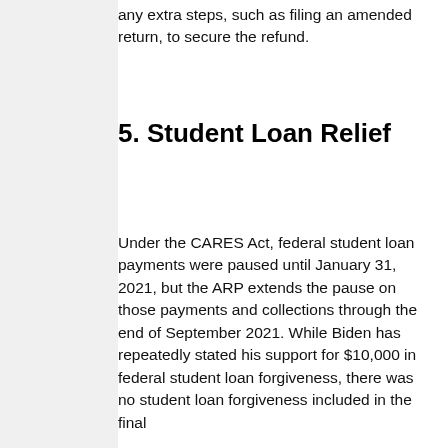This means you won't have to take any extra steps, such as filing an amended return, to secure the refund.
5. Student Loan Relief
Under the CARES Act, federal student loan payments were paused until January 31, 2021, but the ARP extends the pause on those payments and collections through the end of September 2021. While Biden has repeatedly stated his support for $10,000 in federal student loan forgiveness, there was no student loan forgiveness included in the final